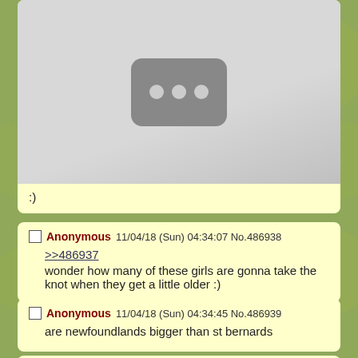[Figure (screenshot): Blurred/placeholder image with YouTube-like icon (dark rounded rectangle with three dots) on light gray background]
:)
Anonymous 11/04/18 (Sun) 04:34:07 No.486938
>>486937
wonder how many of these girls are gonna take the knot when they get a little older :)
Anonymous 11/04/18 (Sun) 04:34:45 No.486939
are newfoundlands bigger than st bernards
A... 11/04/18 (Sun) 04:34:48 No.486948